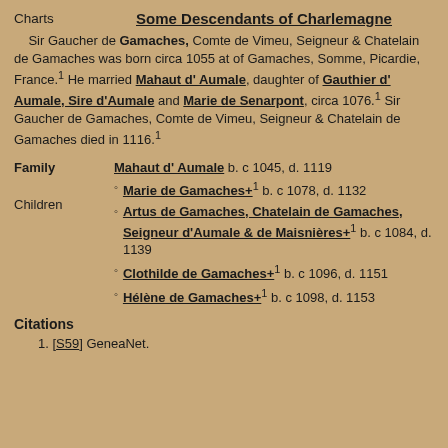Charts    Some Descendants of Charlemagne
Sir Gaucher de Gamaches, Comte de Vimeu, Seigneur & Chatelain de Gamaches was born circa 1055 at of Gamaches, Somme, Picardie, France.1 He married Mahaut d' Aumale, daughter of Gauthier d' Aumale, Sire d'Aumale and Marie de Senarpont, circa 1076.1 Sir Gaucher de Gamaches, Comte de Vimeu, Seigneur & Chatelain de Gamaches died in 1116.1
Family   Mahaut d' Aumale b. c 1045, d. 1119
Children  Marie de Gamaches+1 b. c 1078, d. 1132
  Artus de Gamaches, Chatelain de Gamaches, Seigneur d'Aumale & de Maisnières+1 b. c 1084, d. 1139
  Clothilde de Gamaches+1 b. c 1096, d. 1151
  Hélène de Gamaches+1 b. c 1098, d. 1153
Citations
1. [S59] GeneaNet.